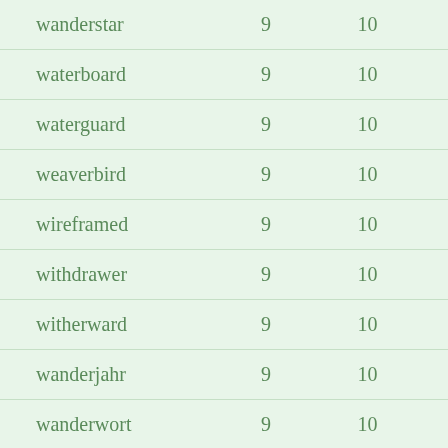| wanderstar | 9 | 10 |
| waterboard | 9 | 10 |
| waterguard | 9 | 10 |
| weaverbird | 9 | 10 |
| wireframed | 9 | 10 |
| withdrawer | 9 | 10 |
| witherward | 9 | 10 |
| wanderjahr | 9 | 10 |
| wanderwort | 9 | 10 |
| addemorts | 9 | 10 |